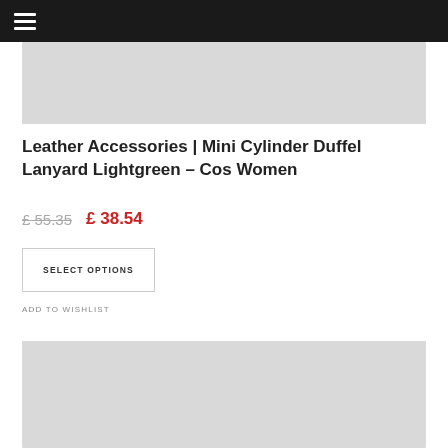☰
[Figure (photo): Product image placeholder - light gray rectangle (top)]
Leather Accessories | Mini Cylinder Duffel Lanyard Lightgreen – Cos Women
£ 55.35  £ 38.54
SELECT OPTIONS
ADD TO WISHLIST
[Figure (photo): Product image placeholder - light gray rectangle (bottom)]